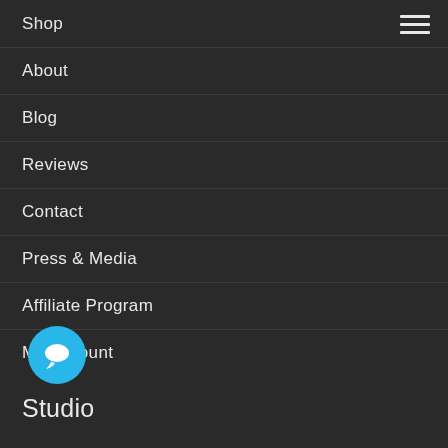Shop
About
Blog
Reviews
Contact
Press & Media
Affiliate Program
My Account
Studio
Adaptalux Studio
Live Printing
Xenon Flash